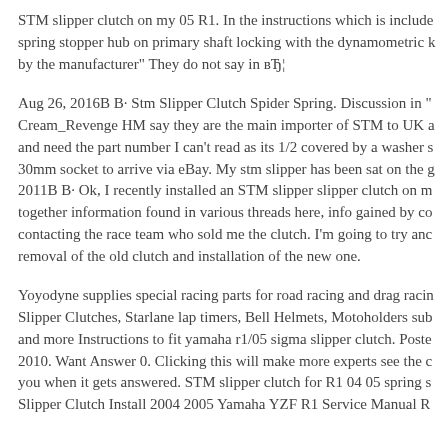STM slipper clutch on my 05 R1. In the instructions which is include spring stopper hub on primary shaft locking with the dynamometric by the manufacturer" They do not say in вЂ¦
Aug 26, 2016В В· Stm Slipper Clutch Spider Spring. Discussion in " Cream_Revenge HM say they are the main importer of STM to UK a and need the part number I can't read as its 1/2 covered by a washer s 30mm socket to arrive via eBay. My stm slipper has been sat on the g 2011В В· Ok, I recently installed an STM slipper slipper clutch on m together information found in various threads here, info gained by co contacting the race team who sold me the clutch. I'm going to try anc removal of the old clutch and installation of the new one.
Yoyodyne supplies special racing parts for road racing and drag racin Slipper Clutches, Starlane lap timers, Bell Helmets, Motoholders sub and more Instructions to fit yamaha r1/05 sigma slipper clutch. Poste 2010. Want Answer 0. Clicking this will make more experts see the c you when it gets answered. STM slipper clutch for R1 04 05 spring s Slipper Clutch Install 2004 2005 Yamaha YZF R1 Service Manual R